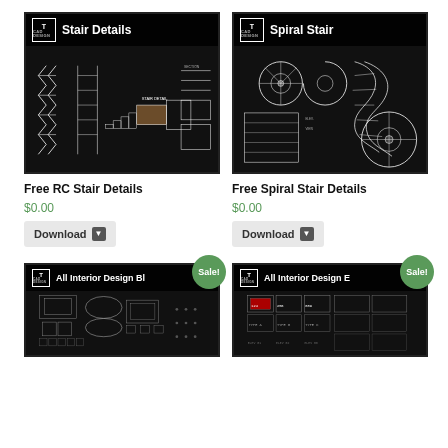[Figure (engineering-diagram): CAD drawing sheet titled 'Stair Details' showing multiple RC stair cross-sections, plans, and elevations in white lines on black background]
Free RC Stair Details
$0.00
Download
[Figure (engineering-diagram): CAD drawing sheet titled 'Spiral Stair' showing multiple spiral staircase plans, elevations, and 3D views in white lines on black background]
Free Spiral Stair Details
$0.00
Download
[Figure (engineering-diagram): CAD drawing sheet titled 'All Interior Design Bl...' with Sale! badge, showing furniture blocks and interior design elements]
[Figure (engineering-diagram): CAD drawing sheet titled 'All Interior Design E...' with Sale! badge, showing interior design elevation details]